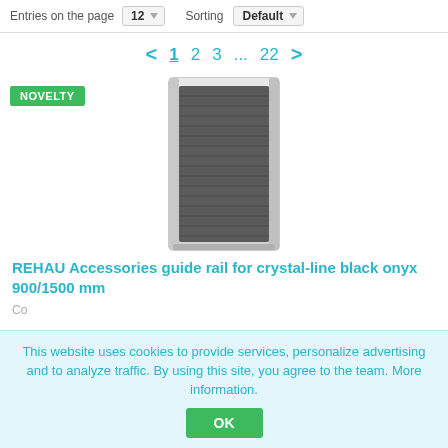Entries on the page  12 ▼   Sorting  Default ▼
< 1 2 3 ... 22 >
[Figure (photo): REHAU product photo: a tall rectangular cabinet/guide rail unit with silver frame and dark grey ribbed front panel, shown on a white background. A green 'NOVELTY' badge appears in the upper left of the product area.]
REHAU Accessories guide rail for crystal-line black onyx 900/1500 mm
This website uses cookies to provide services, personalize advertising and to analyze traffic. By using this site, you agree to the team. More information.
OK